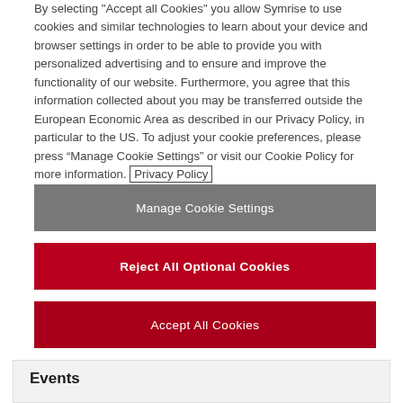By selecting "Accept all Cookies" you allow Symrise to use cookies and similar technologies to learn about your device and browser settings in order to be able to provide you with personalized advertising and to ensure and improve the functionality of our website. Furthermore, you agree that this information collected about you may be transferred outside the European Economic Area as described in our Privacy Policy, in particular to the US. To adjust your cookie preferences, please press “Manage Cookie Settings” or visit our Cookie Policy for more information. Privacy Policy
Manage Cookie Settings
Reject All Optional Cookies
Accept All Cookies
Events